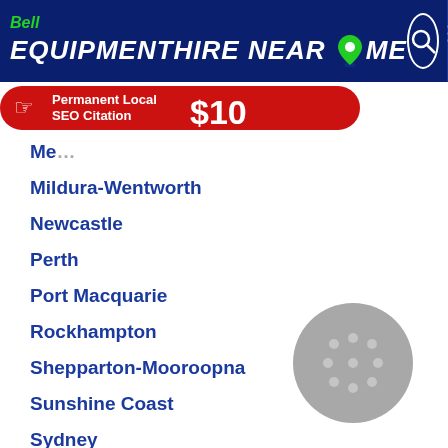Bell EQUIPMENTHIRE NEAR ME
[Figure (screenshot): Red ad banner: Permanent Local SEO Citation $10]
Me…
Mildura-Wentworth
Newcastle
Perth
Port Macquarie
Rockhampton
Shepparton-Mooroopna
Sunshine Coast
Sydney
Tamworth
Toowoomba
Townsville
Wagga Wagga
[Figure (photo): Grey circular sanding disc image]